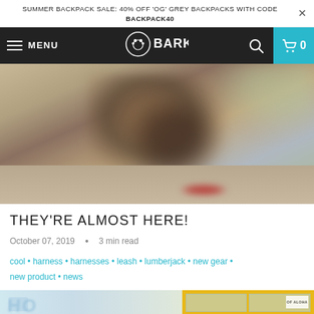SUMMER BACKPACK SALE: 40% OFF 'OG' GREY BACKPACKS WITH CODE BACKPACK40
MENU | BARK | 0
[Figure (photo): Blurry outdoor photo of dogs on pavement, something red in foreground]
THEY'RE ALMOST HERE!
October 07, 2019 • 3 min read
cool • harness • harnesses • leash • lumberjack • new gear • new product • news
[Figure (photo): Shop storefront with blue glass window displaying text and a yellow door with window panes, OPEN sign visible]